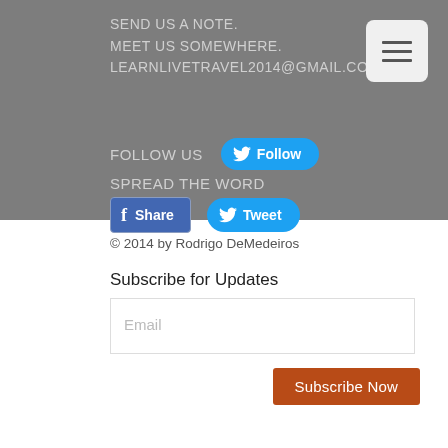SEND US A NOTE. MEET US SOMEWHERE. LEARNLIVETRAVEL2014@GMAIL.COM
[Figure (other): Hamburger menu button icon with three horizontal lines]
FOLLOW US
[Figure (other): Twitter Follow button]
SPREAD THE WORD
[Figure (other): Facebook Share button and Twitter Tweet button]
© 2014 by Rodrigo DeMedeiros
Subscribe for Updates
Email
Subscribe Now